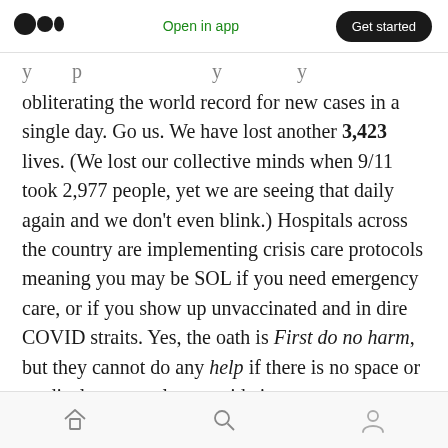Open in app  Get started
obliterating the world record for new cases in a single day. Go us. We have lost another 3,423 lives. (We lost our collective minds when 9/11 took 2,977 people, yet we are seeing that daily again and we don't even blink.) Hospitals across the country are implementing crisis care protocols meaning you may be SOL if you need emergency care, or if you show up unvaccinated and in dire COVID straits. Yes, the oath is First do no harm, but they cannot do any help if there is no space or medical personnel to provide it.
home  search  profile